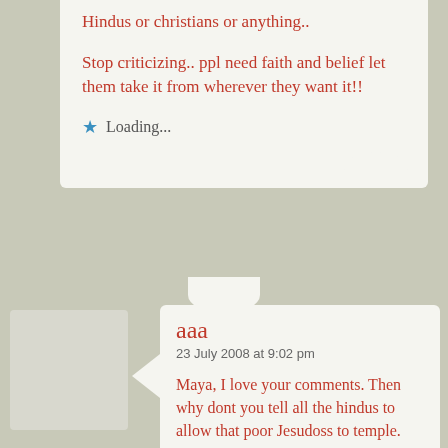Hindus or christians or anything..

Stop criticizing.. ppl need faith and belief let them take it from wherever they want it!!
Loading...
aaa
23 July 2008 at 9:02 pm
Maya, I love your comments. Then why dont you tell all the hindus to allow that poor Jesudoss to temple. Why dont you all love him. Church